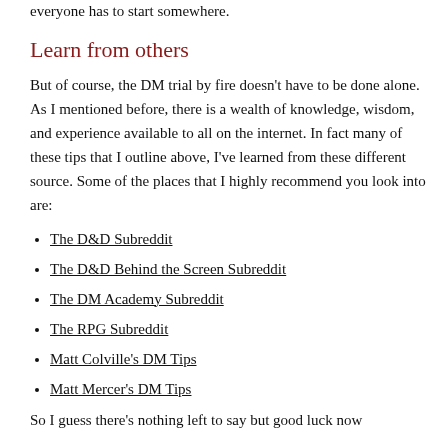everyone has to start somewhere.
Learn from others
But of course, the DM trial by fire doesn't have to be done alone. As I mentioned before, there is a wealth of knowledge, wisdom, and experience available to all on the internet. In fact many of these tips that I outline above, I've learned from these different source. Some of the places that I highly recommend you look into are:
The D&D Subreddit
The D&D Behind the Screen Subreddit
The DM Academy Subreddit
The RPG Subreddit
Matt Colville's DM Tips
Matt Mercer's DM Tips
So I guess there's nothing left to say but good luck now